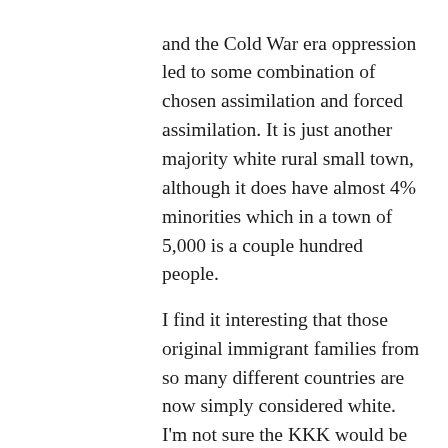and the Cold War era oppression led to some combination of chosen assimilation and forced assimilation. It is just another majority white rural small town, although it does have almost 4% minorities which in a town of 5,000 is a couple hundred people.

I find it interesting that those original immigrant families from so many different countries are now simply considered white. I'm not sure the KKK would be entirely happy about that, but then again neither would the Black Hand. Both the WASP Americans and